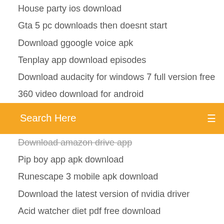House party ios download
Gta 5 pc downloads then doesnt start
Download ggoogle voice apk
Tenplay app download episodes
Download audacity for windows 7 full version free
360 video download for android
[Figure (screenshot): Orange search bar with 'Search Here' placeholder text and a menu icon]
Download amazon drive app
Pip boy app apk download
Runescape 3 mobile apk download
Download the latest version of nvidia driver
Acid watcher diet pdf free download
Gta 5 pc downloads then doesnt start
Abacus jpg free download
Westcoast canadian mod download
Download cha cha answers app for android
I spy pc game for download
Download newest version of audacity